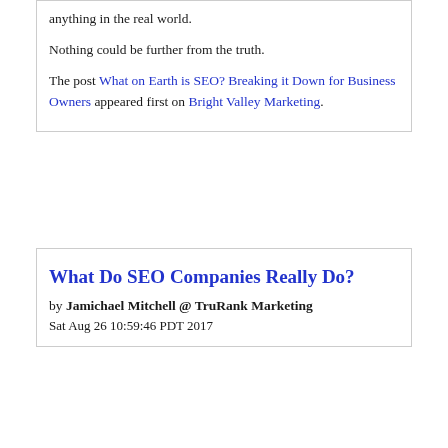anything in the real world.

Nothing could be further from the truth.

The post What on Earth is SEO? Breaking it Down for Business Owners appeared first on Bright Valley Marketing.
What Do SEO Companies Really Do?
by Jamichael Mitchell @ TruRank Marketing
Sat Aug 26 10:59:46 PDT 2017